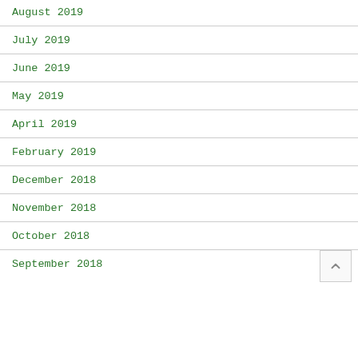August 2019
July 2019
June 2019
May 2019
April 2019
February 2019
December 2018
November 2018
October 2018
September 2018